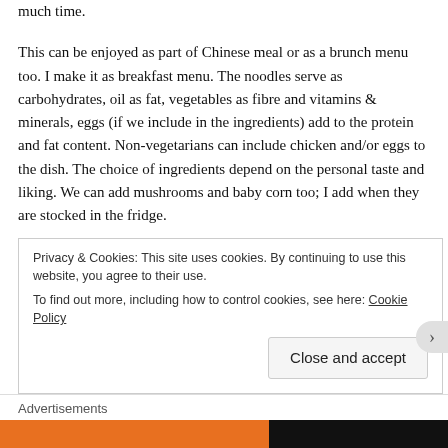much time.
This can be enjoyed as part of Chinese meal or as a brunch menu too. I make it as breakfast menu. The noodles serve as carbohydrates, oil as fat, vegetables as fibre and vitamins & minerals, eggs (if we include in the ingredients) add to the protein and fat content. Non-vegetarians can include chicken and/or eggs to the dish. The choice of ingredients depend on the personal taste and liking. We can add mushrooms and baby corn too; I add when they are stocked in the fridge.
For this post I have used Chings Veg Hakka Noodle (150g) packet and the total vegetable portion was also
Privacy & Cookies: This site uses cookies. By continuing to use this website, you agree to their use. To find out more, including how to control cookies, see here: Cookie Policy
Close and accept
Advertisements